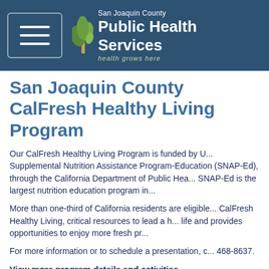San Joaquin County Public Health Services — health grows here
San Joaquin County CalFresh Healthy Living Program
Our CalFresh Healthy Living Program is funded by U... Supplemental Nutrition Assistance Program-Education (SNAP-Ed), through the California Department of Public Health... SNAP-Ed is the largest nutrition education program in...
More than one-third of California residents are eligible... CalFresh Healthy Living, critical resources to lead a h... life and provides opportunities to enjoy more fresh pr...
For more information or to schedule a presentation, c... 468-8637.
View more program details and activities